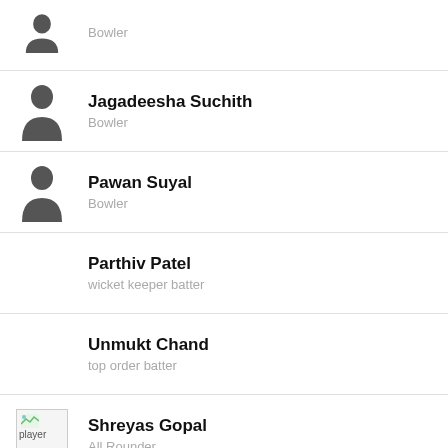Bowler
Jagadeesha Suchith
Bowler
Pawan Suyal
Bowler
Parthiv Patel
wicket keeper batter
Unmukt Chand
top order batter
Shreyas Gopal
All Rounder
Lendl Simmons